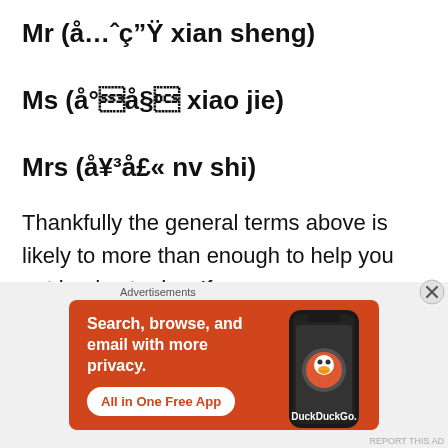Mr (先生 xian sheng)
Ms (小姐 xiao jie)
Mrs (女士 nv shi)
Thankfully the general terms above is likely to more than enough to help you get by day to day. If
[Figure (other): DuckDuckGo advertisement banner: 'Search, browse, and email with more privacy. All in One Free App' with phone graphic and DuckDuckGo logo on orange background]